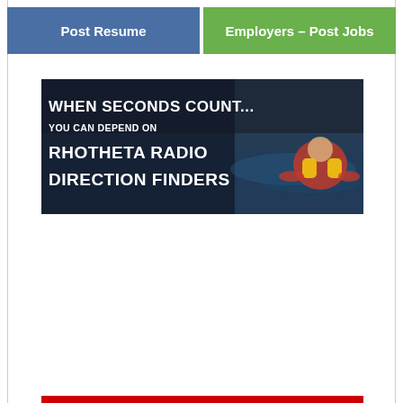Post Resume | Employers – Post Jobs
[Figure (infographic): Advertisement banner for Rhotheta Radio Direction Finders showing text 'WHEN SECONDS COUNT... YOU CAN DEPEND ON RHOTHETA RADIO DIRECTION FINDERS' overlaid on a dark background with an image of a child in a life jacket floating in water on the right side.]